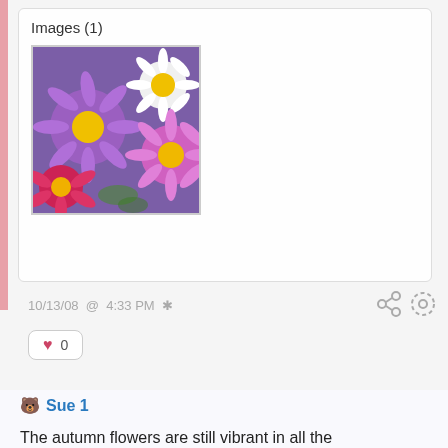Images (1)
[Figure (photo): Colorful purple, pink, and red aster flowers with yellow centers]
10/13/08  @  4:33 PM  *
♥  0
🐻 Sue 1
The autumn flowers are still vibrant in all the windowboxes. Even some of the planters in the gardens still look beautiful. Enjoy them while you can. They will soon be covered with snow.

Love,